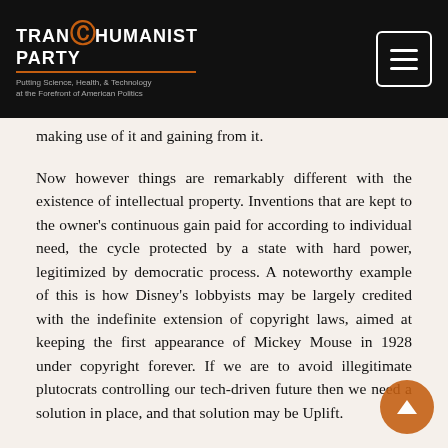TRANSHUMANIST PARTY — Putting Science, Health, & Technology at the Forefront of American Politics
making use of it and gaining from it.

Now however things are remarkably different with the existence of intellectual property. Inventions that are kept to the owner's continuous gain paid for according to individual need, the cycle protected by a state with hard power, legitimized by democratic process. A noteworthy example of this is how Disney's lobbyists may be largely credited with the indefinite extension of copyright laws, aimed at keeping the first appearance of Mickey Mouse in 1928 under copyright forever. If we are to avoid illegitimate plutocrats controlling our tech-driven future then we need a solution in place, and that solution may be Uplift.